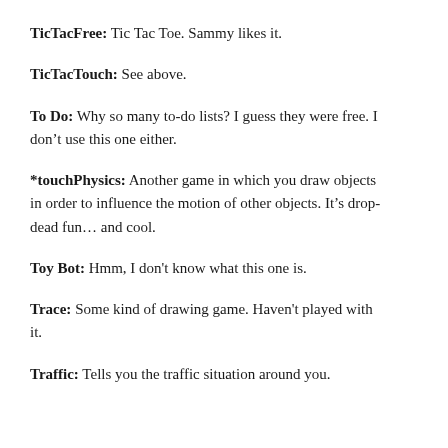TicTacFree: Tic Tac Toe. Sammy likes it.
TicTacTouch: See above.
To Do: Why so many to-do lists? I guess they were free. I don't use this one either.
*touchPhysics: Another game in which you draw objects in order to influence the motion of other objects. It's drop-dead fun... and cool.
Toy Bot: Hmm, I don't know what this one is.
Trace: Some kind of drawing game. Haven't played with it.
Traffic: Tells you the traffic situation around you.